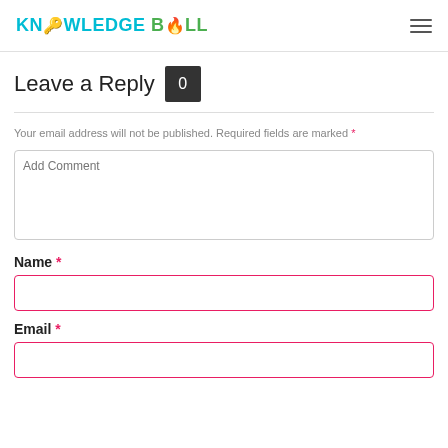KNOWLEDGE BULL
Leave a Reply 0
Your email address will not be published. Required fields are marked *
Add Comment
Name *
Email *